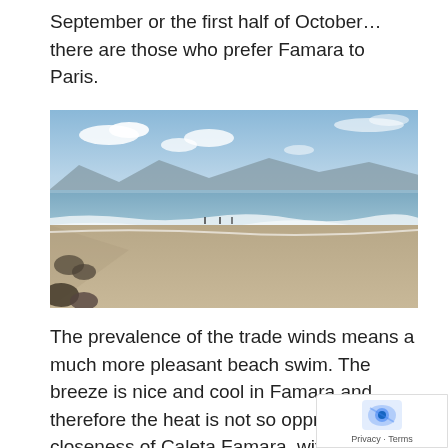September or the first half of October… there are those who prefer Famara to Paris.
[Figure (photo): Wide beach scene at Famara, Lanzarote. Sandy beach in foreground with gentle waves, mountains in background, blue sky with scattered clouds.]
The prevalence of the trade winds means a much more pleasant beach swim. The breeze is nice and cool in Famara and therefore the heat is not so oppressing. The closeness of Caleta Famara, with its gastronomic offer of fresh fish and its pleasant terraces right on the volc...